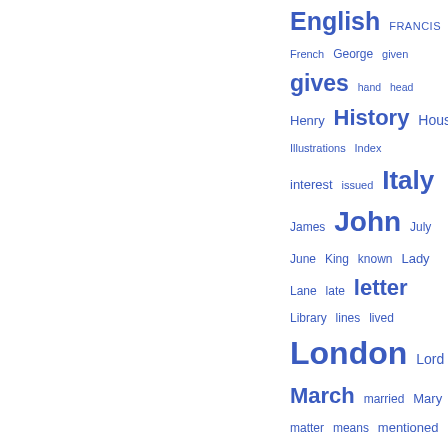[Figure (other): Tag cloud / word cloud showing index terms in varying font sizes in blue, including: English, FRANCIS, French, George, given, gives, hand, head, Henry, History, House, Illustrations, Index, interest, issued, Italy, James, John, July, June, King, known, Lady, Lane, late, letter, Library, lines, lived, London, Lord, March, married, Mary, matter, means, mentioned, months, Notes, Notes and Queries, notice, occurs, Office, original, Oxford, period, person, poem, present, Press, printed]